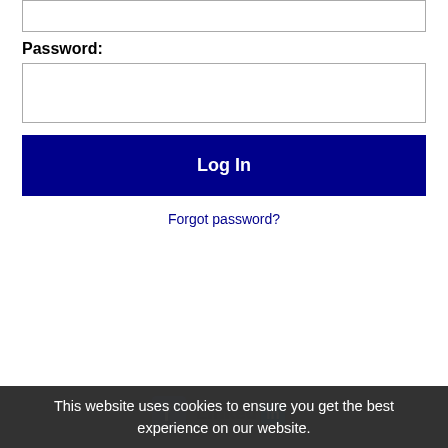Password:
Log In
Forgot password?
[Figure (screenshot): Cookie consent overlay on a dark background with LinkedIn and Facebook social icons, cookie notice text, 'Learn more' link, a message about following @recnetIN on Twitter, a Bloomberg RSS job feeds reference, and a yellow 'Got it!' button.]
This website uses cookies to ensure you get the best experience on our website.
Get the latest Industry jobs by following @recnetIN on Twitter!
Bloomberg RSS job feeds
Got it!